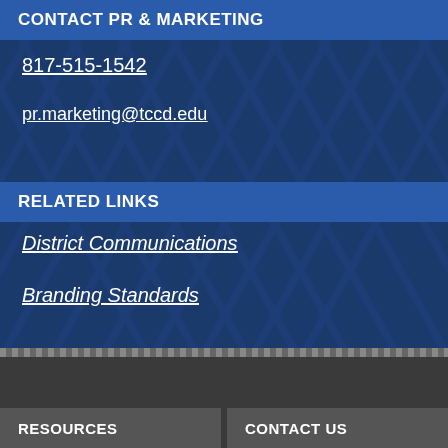CONTACT PR & MARKETING
817-515-1542
pr.marketing@tccd.edu
RELATED LINKS
District Communications
Branding Standards
Send us a story
RESOURCES
CONTACT US